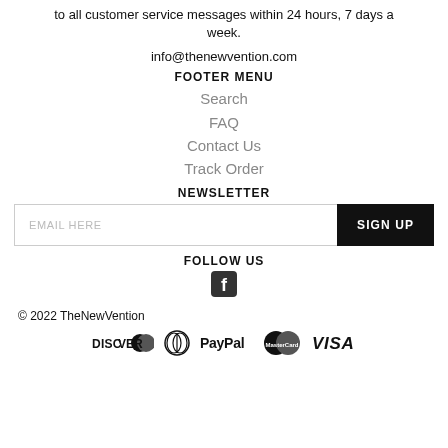to all customer service messages within 24 hours, 7 days a week.
info@thenewvention.com
FOOTER MENU
Search
FAQ
Contact Us
Track Order
NEWSLETTER
EMAIL HERE | SIGN UP
FOLLOW US
[Figure (logo): Facebook icon]
© 2022 TheNewVention
[Figure (logo): Payment icons: Discover, Diners Club, PayPal, MasterCard, Visa]